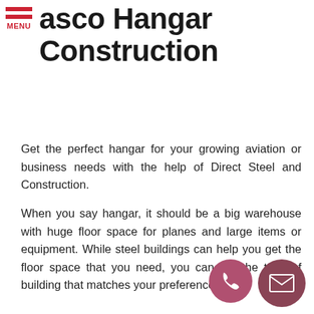Wasco Hangar Construction
Get the perfect hangar for your growing aviation or business needs with the help of Direct Steel and Construction.
When you say hangar, it should be a big warehouse with huge floor space for planes and large items or equipment. While steel buildings can help you get the floor space that you need, you can get the type of building that matches your preferences.
With our Wasco team, you can get personalized hangars that will suit your business needs and style. We can even customize the structure in such a way that all your needs will be in one roof without breaking your budget.
If we construct your buildings, it's guaranteed to be durable and energy-efficient; which are qualities that any business or aviation industry are their important value...